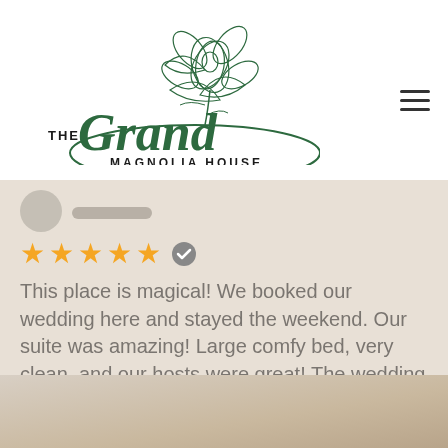[Figure (logo): The Grand Magnolia House logo with magnolia flower illustration and script/serif text]
This place is magical! We booked our wedding here and stayed the weekend. Our suite was amazing! Large comfy bed, very clean, and our hosts were great! The wedding was perfect and our guests